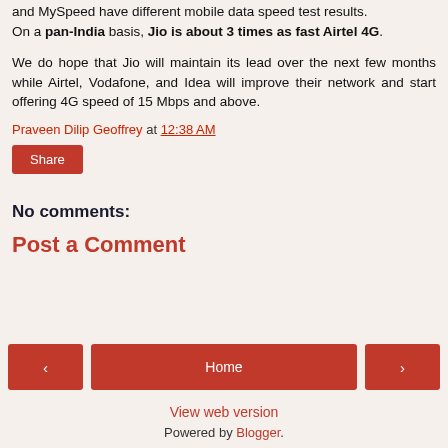and MySpeed have different mobile data speed test results. On a pan-India basis, Jio is about 3 times as fast Airtel 4G.
We do hope that Jio will maintain its lead over the next few months while Airtel, Vodafone, and Idea will improve their network and start offering 4G speed of 15 Mbps and above.
Praveen Dilip Geoffrey at 12:38 AM
Share
No comments:
Post a Comment
Home
View web version
Powered by Blogger.